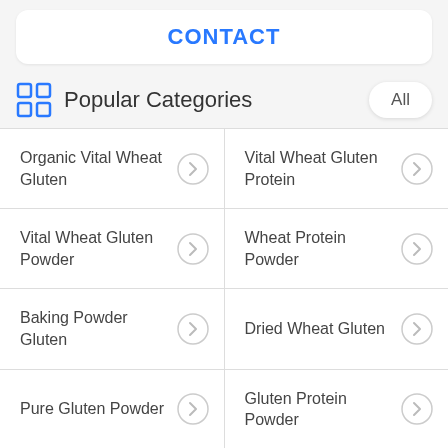CONTACT
Popular Categories
| Organic Vital Wheat Gluten | Vital Wheat Gluten Protein |
| Vital Wheat Gluten Powder | Wheat Protein Powder |
| Baking Powder Gluten | Dried Wheat Gluten |
| Pure Gluten Powder | Gluten Protein Powder |